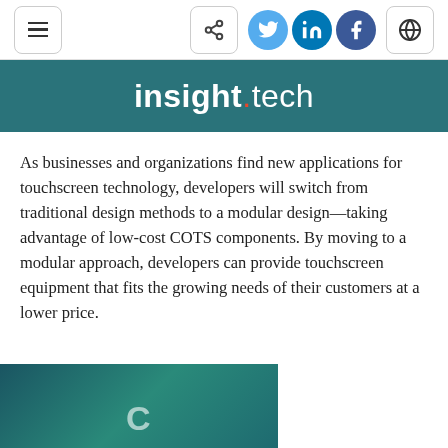insight.tech navigation bar with menu, share, Twitter, LinkedIn, Facebook, and globe icons
insight.tech
As businesses and organizations find new applications for touchscreen technology, developers will switch from traditional design methods to a modular design—taking advantage of low-cost COTS components. By moving to a modular approach, developers can provide touchscreen equipment that fits the growing needs of their customers at a lower price.
[Figure (photo): Partially visible teal/dark background image at bottom of page with white text beginning to appear]